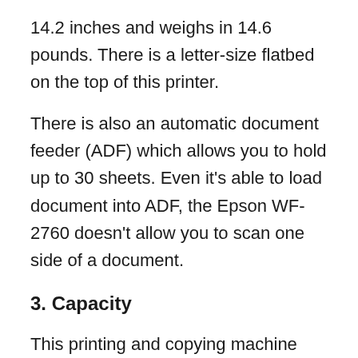14.2 inches and weighs in 14.6 pounds. There is a letter-size flatbed on the top of this printer.
There is also an automatic document feeder (ADF) which allows you to hold up to 30 sheets. Even it's able to load document into ADF, the Epson WF-2760 doesn't allow you to scan one side of a document.
3. Capacity
This printing and copying machine has 150-sheet output tray located on the top of the drawer. You need to slide out the drawer first then insert paper because those all aren't attached.